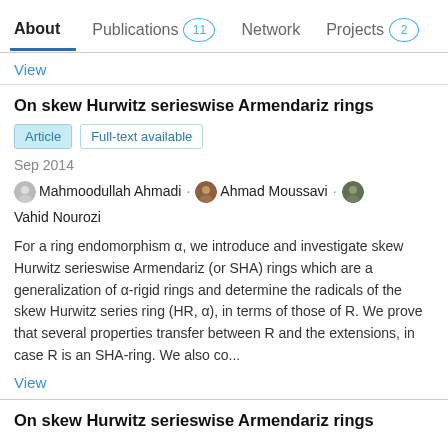About  Publications 11  Network  Projects 2
View
On skew Hurwitz serieswise Armendariz rings
Article  Full-text available
Sep 2014
Mahmoodullah Ahmadi · Ahmad Moussavi · Vahid Nourozi
For a ring endomorphism α, we introduce and investigate skew Hurwitz serieswise Armendariz (or SHA) rings which are a generalization of α-rigid rings and determine the radicals of the skew Hurwitz series ring (HR, α), in terms of those of R. We prove that several properties transfer between R and the extensions, in case R is an SHA-ring. We also co...
View
On skew Hurwitz serieswise Armendariz rings